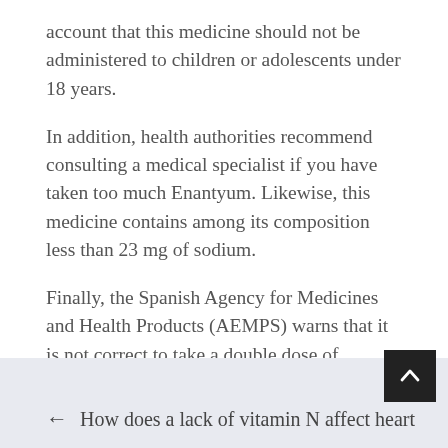account that this medicine should not be administered to children or adolescents under 18 years.
In addition, health authorities recommend consulting a medical specialist if you have taken too much Enantyum. Likewise, this medicine contains among its composition less than 23 mg of sodium.
Finally, the Spanish Agency for Medicines and Health Products (AEMPS) warns that it is not correct to take a double dose of Enantyum in case you have forgotten one of the shots.
September 22, 2021  |  By ksuadmin
← How does a lack of vitamin N affect heart